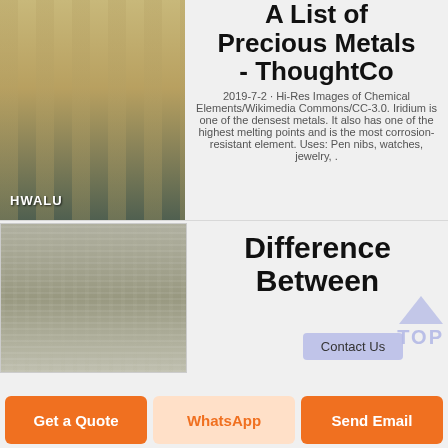[Figure (photo): Warehouse interior with stacks of aluminum sheets, green floor, red crane overhead. HWALU watermark label.]
A List of Precious Metals - ThoughtCo
2019-7-2 · Hi-Res Images of Chemical Elements/Wikimedia Commons/CC-3.0. Iridium is one of the densest metals. It also has one of the highest melting points and is the most corrosion-resistant element. Uses: Pen nibs, watches, jewelry, .
[Figure (photo): Close-up of rough textured gray metal surface (iridium or similar precious metal).]
Difference Between
Get a Quote
WhatsApp
Send Email